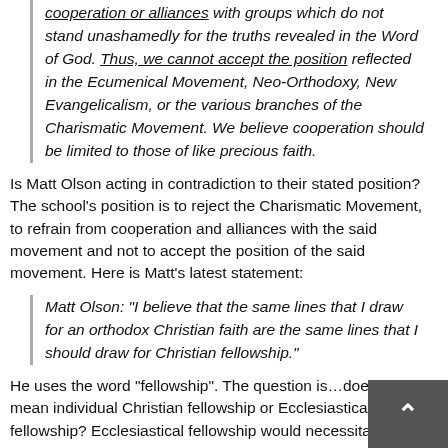cooperation or alliances with groups which do not stand unashamedly for the truths revealed in the Word of God. Thus, we cannot accept the position reflected in the Ecumenical Movement, Neo-Orthodoxy, New Evangelicalism, or the various branches of the Charismatic Movement. We believe cooperation should be limited to those of like precious faith.
Is Matt Olson acting in contradiction to their stated position? The school's position is to reject the Charismatic Movement, to refrain from cooperation and alliances with the said movement and not to accept the position of the said movement. Here is Matt's latest statement:
Matt Olson: "I believe that the same lines that I draw for an orthodox Christian faith are the same lines that I should draw for Christian fellowship."
He uses the word "fellowship". The question is…does he mean individual Christian fellowship or Ecclesiastical fellowship? Ecclesiastical fellowship would necessitate